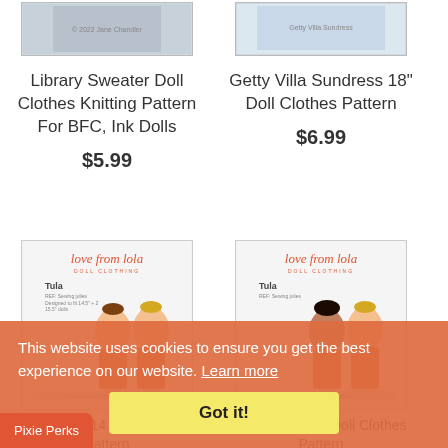[Figure (photo): Product image for Library Sweater Doll Clothes Knitting Pattern - shows doll in sweater and red pants]
Library Sweater Doll Clothes Knitting Pattern For BFC, Ink Dolls
$5.99
[Figure (photo): Product image for Getty Villa Sundress 18" Doll Clothes Pattern - shows doll in sandals and sundress]
Getty Villa Sundress 18" Doll Clothes Pattern
$6.99
[Figure (photo): Love from Lola Doll Clothing pattern cover - Tula pattern showing two dolls in orange outfits]
Tula Dress 14.5-15" Doll Clothes Pattern
[Figure (photo): Love from Lola Doll Clothing pattern cover - Tula pattern showing two dolls with different hair in orange outfits]
Tula Dress 18" Doll Clothes Pattern
This website uses cookies to ensure you get the best experience on our website.
Learn more
Got it!
Pixie Perks